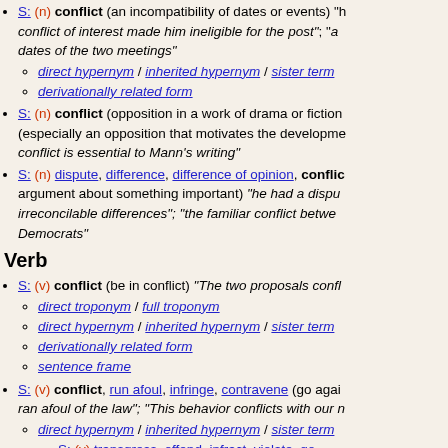S: (n) conflict (an incompatibility of dates or events) "he started to tell me, but conflict of interest made him ineligible for the post"; "a conflict of interest made him ineligible for the post"; "a ... dates of the two meetings"
direct hypernym / inherited hypernym / sister term
derivationally related form
S: (n) conflict (opposition in a work of drama or fiction) (especially an opposition that motivates the development) "conflict is essential to Mann's writing"
S: (n) dispute, difference, difference of opinion, conflict (argument about something important) "he had a dispute... irreconcilable differences"; "the familiar conflict between... Democrats"
Verb
S: (v) conflict (be in conflict) "The two proposals conflict"
direct troponym / full troponym
direct hypernym / inherited hypernym / sister term
derivationally related form
sentence frame
S: (v) conflict, run afoul, infringe, contravene (go against) "ran afoul of the law"; "This behavior conflicts with our n..."
direct hypernym / inherited hypernym / sister term
S: (v) transgress, offend, infract, violate, go... disregard of laws, rules, contracts, or promi...